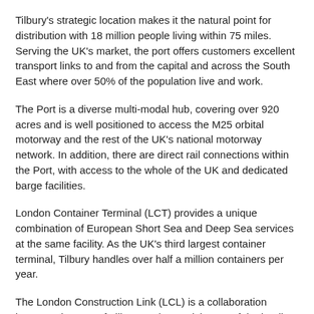Tilbury's strategic location makes it the natural point for distribution with 18 million people living within 75 miles. Serving the UK's market, the port offers customers excellent transport links to and from the capital and across the South East where over 50% of the population live and work.
The Port is a diverse multi-modal hub, covering over 920 acres and is well positioned to access the M25 orbital motorway and the rest of the UK's national motorway network. In addition, there are direct rail connections within the Port, with access to the whole of the UK and dedicated barge facilities.
London Container Terminal (LCT) provides a unique combination of European Short Sea and Deep Sea services at the same facility. As the UK's third largest container terminal, Tilbury handles over half a million containers per year.
The London Construction Link (LCL) is a collaboration between the Port of Tilbury and S. Walsh, one of the leading construction solutions companies in London. The partnership is seeking to relieve congestion on the capital's roads, with associated cycling safety and CO2 benefits, through promoting greater use of construction consolidation and the use of the river for construction projects on or near the Thames. LCL builds upon the Tilbury's pedigree as the logistics and distribution hub for the 2012 Olympics and Paralympics and S. Walsh's success as the largest marine operator on the Thames. LCL is supported by British Cycling.